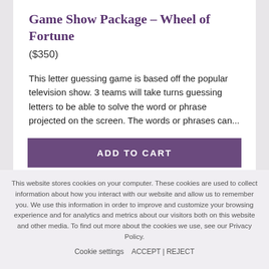Game Show Package – Wheel of Fortune
($350)
This letter guessing game is based off the popular television show. 3 teams will take turns guessing letters to be able to solve the word or phrase projected on the screen. The words or phrases can...
ADD TO CART
LEARN MORE
This website stores cookies on your computer. These cookies are used to collect information about how you interact with our website and allow us to remember you. We use this information in order to improve and customize your browsing experience and for analytics and metrics about our visitors both on this website and other media. To find out more about the cookies we use, see our Privacy Policy.
Cookie settings   ACCEPT | REJECT